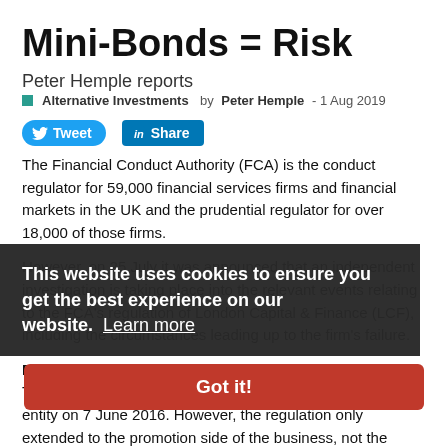Mini-Bonds = Risk
Peter Hemple reports
Alternative Investments  by Peter Hemple - 1 Aug 2019
The Financial Conduct Authority (FCA) is the conduct regulator for 59,000 financial services firms and financial markets in the UK and the prudential regulator for over 18,000 of those firms.
However, on 25 July it was announced that an independent investigation is taking place into the relevant events relating to the FCA's regulation of London Capital & Finance (LCF), including the circumstances leading up to the firm's failure.
Background to the LC&F review
The FCA acknowledges that LCF became a FCA-regulated entity on 7 June 2016. However, the regulation only extended to the promotion side of the business, not the actual products. It was
This website uses cookies to ensure you get the best experience on our website. Learn more
Got it!